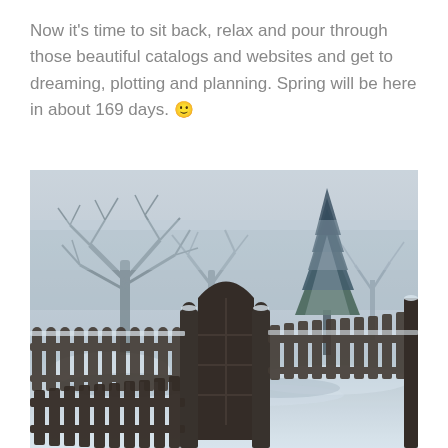Now it's time to sit back, relax and pour through those beautiful catalogs and websites and get to dreaming, plotting and planning. Spring will be here in about 169 days. 🙂
[Figure (photo): Winter garden scene showing a snow-covered yard with bare deciduous trees and an evergreen pine tree in the background. In the foreground is a wooden picket fence with a rounded-arch gate. Snow covers the ground and tops of fence posts. The scene has a grey, overcast winter atmosphere.]